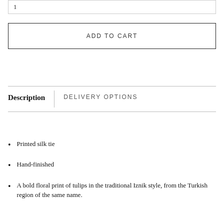1
ADD TO CART
Description | DELIVERY OPTIONS
Printed silk tie
Hand-finished
A bold floral print of tulips in the traditional Iznik style, from the Turkish region of the same name.